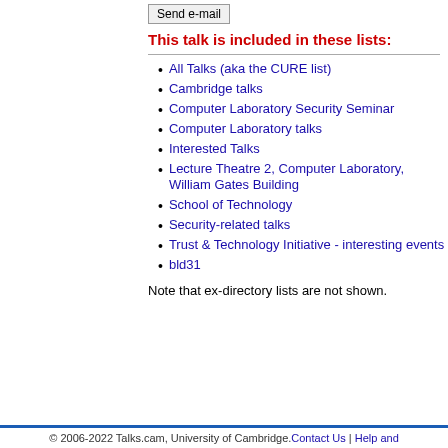Send e-mail
This talk is included in these lists:
All Talks (aka the CURE list)
Cambridge talks
Computer Laboratory Security Seminar
Computer Laboratory talks
Interested Talks
Lecture Theatre 2, Computer Laboratory, William Gates Building
School of Technology
Security-related talks
Trust & Technology Initiative - interesting events
bld31
Note that ex-directory lists are not shown.
© 2006-2022 Talks.cam, University of Cambridge. Contact Us | Help and